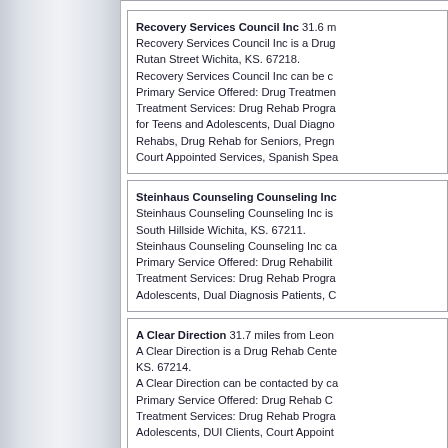Recovery Services Council Inc 31.6 m... Recovery Services Council Inc is a Drug... Rutan Street Wichita, KS. 67218. Recovery Services Council Inc can be c... Primary Service Offered: Drug Treatmen... Treatment Services: Drug Rehab Progra... for Teens and Adolescents, Dual Diagno... Rehabs, Drug Rehab for Seniors, Pregn... Court Appointed Services, Spanish Spea...
Steinhaus Counseling Counseling Inc... Steinhaus Counseling Counseling Inc is... South Hillside Wichita, KS. 67211. Steinhaus Counseling Counseling Inc ca... Primary Service Offered: Drug Rehabilit... Treatment Services: Drug Rehab Progra... Adolescents, Dual Diagnosis Patients, C...
A Clear Direction 31.7 miles from Leon... A Clear Direction is a Drug Rehab Cente... KS. 67214. A Clear Direction can be contacted by ca... Primary Service Offered: Drug Rehab C... Treatment Services: Drug Rehab Progra... Adolescents, DUI Clients, Court Appoint...
Seven Direction Inc 31.7 miles from Le... Seven Direction Inc is a Drug Rehabilita... Wichita, KS. 67214.